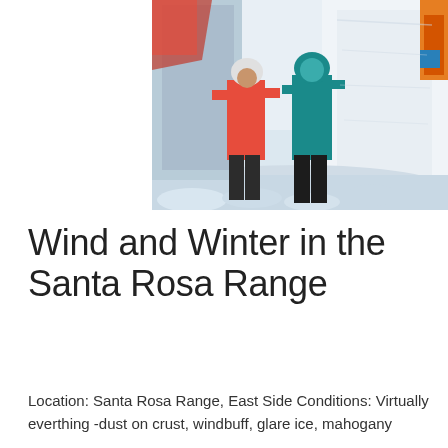[Figure (photo): Two people in winter gear standing in a snow pit. One person wears a red jacket and white helmet, the other wears a teal jacket. They are examining a snow cross-section wall. Bright sunny conditions with deep snow.]
Wind and Winter in the Santa Rosa Range
Location: Santa Rosa Range, East Side Conditions: Virtually everthing -dust on crust, windbuff, glare ice, mahogany